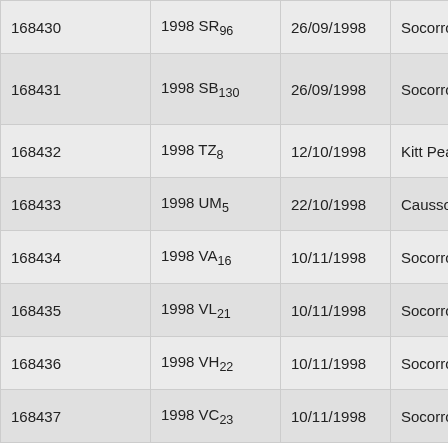| 168430 | 1998 SR96 | 26/09/1998 | Socorro |
| 168431 | 1998 SB130 | 26/09/1998 | Socorro |
| 168432 | 1998 TZ8 | 12/10/1998 | Kitt Peak |
| 168433 | 1998 UM5 | 22/10/1998 | Caussols |
| 168434 | 1998 VA16 | 10/11/1998 | Socorro |
| 168435 | 1998 VL21 | 10/11/1998 | Socorro |
| 168436 | 1998 VH22 | 10/11/1998 | Socorro |
| 168437 | 1998 VC23 | 10/11/1998 | Socorro |